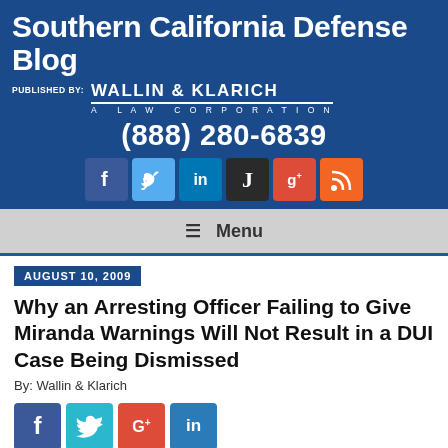Southern California Defense Blog
PUBLISHED BY: WALLIN & KLARICH A LAW CORPORATION
(888) 280-6839
[Figure (other): Social media icons row: Facebook, Twitter, LinkedIn, Justia, Google+, RSS]
Menu
AUGUST 10, 2009
Why an Arresting Officer Failing to Give Miranda Warnings Will Not Result in a DUI Case Being Dismissed
By: Wallin & Klarich
[Figure (other): Social share icons: Facebook, Twitter, Google+, LinkedIn]